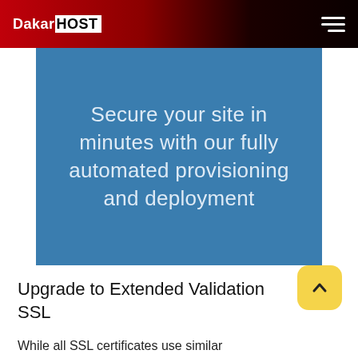DakarHOST
Secure your site in minutes with our fully automated provisioning and deployment
[Figure (other): Yellow rounded square scroll-to-top button with upward chevron arrow]
Upgrade to Extended Validation SSL
While all SSL certificates use similar